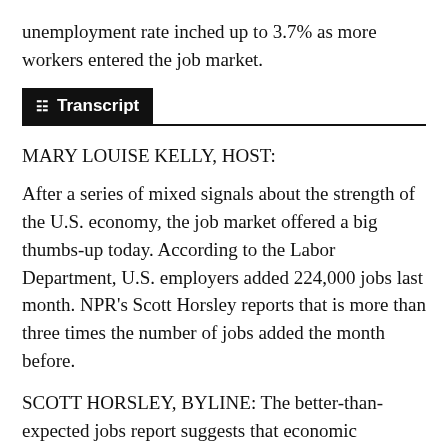unemployment rate inched up to 3.7% as more workers entered the job market.
Transcript
MARY LOUISE KELLY, HOST:
After a series of mixed signals about the strength of the U.S. economy, the job market offered a big thumbs-up today. According to the Labor Department, U.S. employers added 224,000 jobs last month. NPR's Scott Horsley reports that is more than three times the number of jobs added the month before.
SCOTT HORSLEY, BYLINE: The better-than-expected jobs report suggests that economic expansion, which is already the lo...